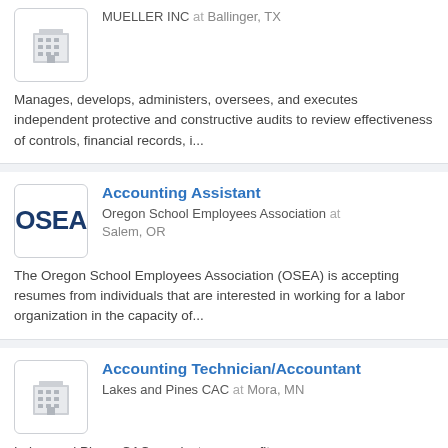[Figure (logo): Generic building/office icon in gray]
MUELLER INC at Ballinger, TX
Manages, develops, administers, oversees, and executes independent protective and constructive audits to review effectiveness of controls, financial records, i...
[Figure (logo): OSEA text logo in dark navy blue]
Accounting Assistant
Oregon School Employees Association at Salem, OR
The Oregon School Employees Association (OSEA) is accepting resumes from individuals that are interested in working for a labor organization in the capacity of...
[Figure (logo): Generic building/office icon in gray]
Accounting Technician/Accountant
Lakes and Pines CAC at Mora, MN
Lakes and Pines, CAC, a private non-profit